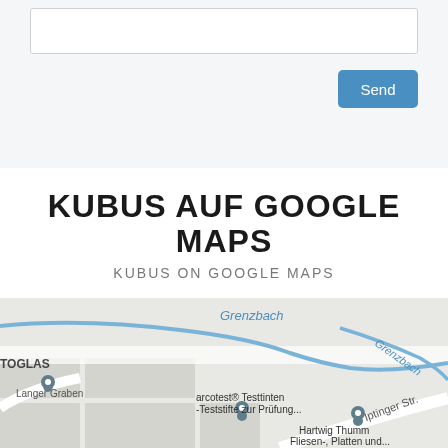[Figure (other): Web form area with empty input text box and a blue Send button]
KUBUS AUF GOOGLE MAPS
KUBUS ON GOOGLE MAPS
[Figure (map): Google Maps screenshot showing Grenzbach road, Langer Graben, Rotweg, Iptinger Str., with business map pins for arcotest® Testtinten -Teststifte zur Prüfung..., Hartwig Thumm Fliesen-, Platten und..., and TOGLAS]